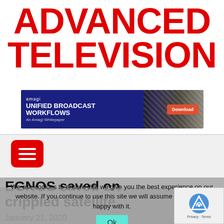ADVANCED TELEVISION
[Figure (screenshot): Amagi advertisement banner: 'UNIFIED BROADCAST WORKFLOWS - An Amagi Whitepaper' with a Download button on a blue and dark background]
[Figure (other): Red hamburger menu button with three white horizontal lines]
EGNOS saved on crippled satellite
January 21, 2020
We use cookies to ensure that we give you the best experience on our website. If you continue to use this site we will assume that you are happy with it.
[Figure (logo): Google reCAPTCHA badge with Privacy - Terms text]